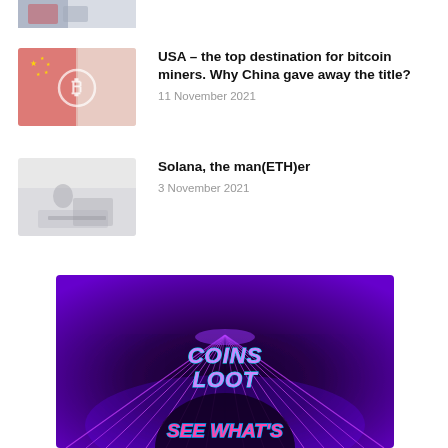[Figure (photo): Partial thumbnail image at top of page, cropped]
[Figure (photo): Thumbnail image showing Bitcoin symbol with Chinese flag background, pinkish red tones]
USA – the top destination for bitcoin miners. Why China gave away the title?
11 November 2021
[Figure (photo): Thumbnail image showing a person at a computer in grayscale/light tones]
Solana, the man(ETH)er
3 November 2021
[Figure (photo): Neon-lit tunnel promotional banner for COINS LOOT with text SEE WHAT'S at the bottom, purple and pink neon colors]